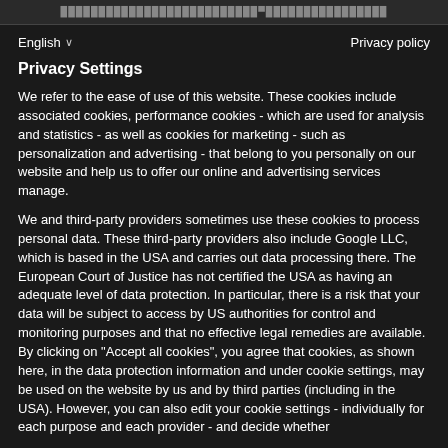XXXXXXXXXXXXXXXXXXXXXXXX, XXXXXXXXXXXXXXXX
English ∨   Privacy policy
Privacy Settings
We refer to the ease of use of this website. These cookies include associated cookies, performance cookies - which are used for analysis and statistics - as well as cookies for marketing - such as personalization and advertising - that belong to you personally on our website and help us to offer our online and advertising services manage.
We and third-party providers sometimes use these cookies to process personal data. These third-party providers also include Google LLC, which is based in the USA and carries out data processing there. The European Court of Justice has not certified the USA as having an adequate level of data protection. In particular, there is a risk that your data will be subject to access by US authorities for control and monitoring purposes and that no effective legal remedies are available. By clicking on "Accept all cookies", you agree that cookies, as shown here, in the data protection information and under cookie settings, may be used on the website by us and by third parties (including in the USA). However, you can also edit your cookie settings - individually for each purpose and each provider - and decide whether